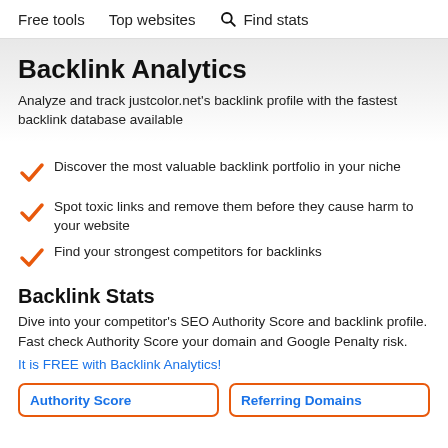Free tools   Top websites   Find stats
Backlink Analytics
Analyze and track justcolor.net's backlink profile with the fastest backlink database available
Discover the most valuable backlink portfolio in your niche
Spot toxic links and remove them before they cause harm to your website
Find your strongest competitors for backlinks
Backlink Stats
Dive into your competitor's SEO Authority Score and backlink profile. Fast check Authority Score your domain and Google Penalty risk.
It is FREE with Backlink Analytics!
| Authority Score | Referring Domains |
| --- | --- |